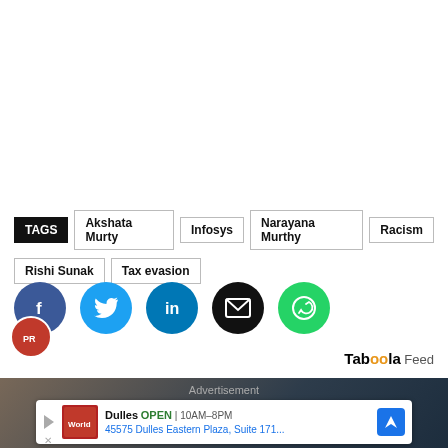TAGS  Akshata Murty  Infosys  Narayana Murthy  Racism  Rishi Sunak  Tax evasion
[Figure (infographic): Social share buttons: Facebook (blue), Twitter (light blue), LinkedIn (dark blue), Email (black), WhatsApp (green)]
Taboola Feed
[Figure (photo): Dark background photo of what appears to be a vehicle or automotive setting]
Advertisement
[Figure (screenshot): Advertisement card: Dulles OPEN | 10AM-8PM, 45575 Dulles Eastern Plaza, Suite 171... with World Market store logo and navigation arrow icon]